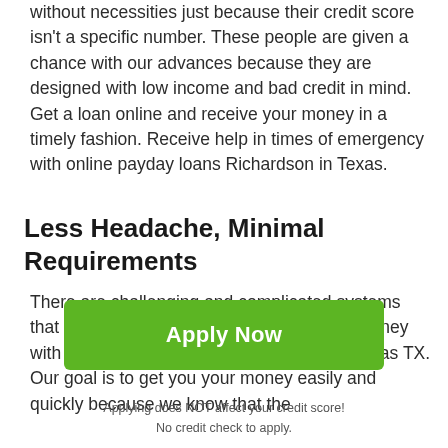without necessities just because their credit score isn't a specific number. These people are given a chance with our advances because they are designed with low income and bad credit in mind. Get a loan online and receive your money in a timely fashion. Receive help in times of emergency with online payday loans Richardson in Texas.
Less Headache, Minimal Requirements
There are challenging and complicated systems that can hinder the ease of receiving your money with some payday loans in Richardson of Texas TX. Our goal is to get you your money easily and quickly because we know that the
[Figure (other): Green 'Apply Now' button]
Applying does NOT affect your credit score!
No credit check to apply.